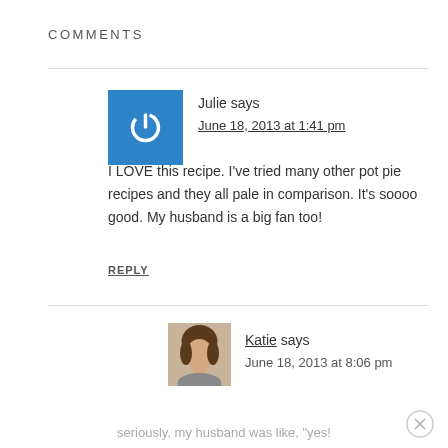COMMENTS
Julie says
June 18, 2013 at 1:41 pm
I LOVE this recipe. I've tried many other pot pie recipes and they all pale in comparison. It's soooo good. My husband is a big fan too!
REPLY
Katie says
June 18, 2013 at 8:06 pm
seriously, my husband was like, "yes!